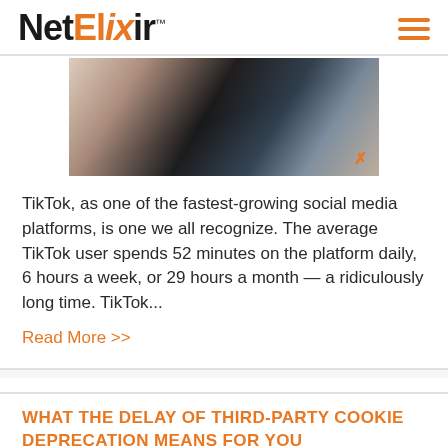NetElixir
[Figure (photo): A person holding a smartphone, looking down at screen]
TikTok, as one of the fastest-growing social media platforms, is one we all recognize. The average TikTok user spends 52 minutes on the platform daily, 6 hours a week, or 29 hours a month — a ridiculously long time. TikTok...
Read More >>
WHAT THE DELAY OF THIRD-PARTY COOKIE DEPRECATION MEANS FOR YOU